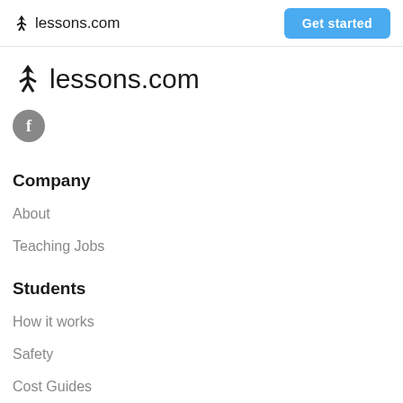lessons.com — Get started
lessons.com
[Figure (logo): Facebook social media icon circle]
Company
About
Teaching Jobs
Students
How it works
Safety
Cost Guides
Lessons Near Me